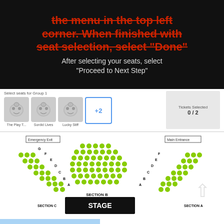the menu in the top left corner. When finished with seat selection, select "Done"
After selecting your seats, select "Proceed to Next Step"
[Figure (screenshot): Ticket selection UI showing Group 1 seat selection with theater mask icons for The Play T., Sordid Lives, Lucky Stiff, a +2 button, and a Tickets Selected 0/2 counter]
[Figure (infographic): Theater seating map showing Section A, Section B, and Section C with green dot seats arranged in rows labeled A-G, a Stage area, Emergency Exit top left, and Main Entrance top right]